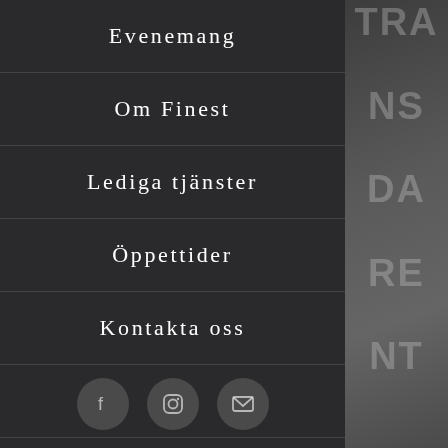Evenemang
Om Finest
Lediga tjänster
Öppettider
Kontakta oss
[Figure (other): Search icon (magnifying glass)]
[Figure (photo): Dark background with faded text reading TRANSPARANT overlaid on a photo of a person in a suit holding a card/badge]
[Figure (other): Social media icons: Facebook, Instagram, Email]